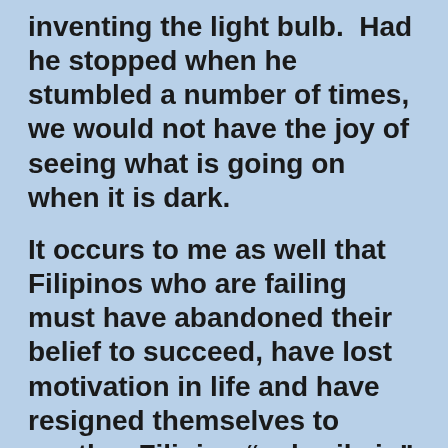inventing the light bulb.  Had he stopped when he stumbled a number of times, we would not have the joy of seeing what is going on when it is dark.
It occurs to me as well that Filipinos who are failing must have abandoned their belief to succeed, have lost motivation in life and have resigned themselves to another Filipino “salawikain” - “Bahala na” roughly translated as ““be as it may” or “come what may”” - which in my opinion runs counter to “pag may